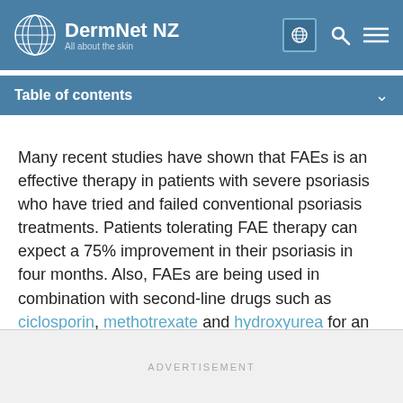DermNet NZ — All about the skin
Table of contents
Many recent studies have shown that FAEs is an effective therapy in patients with severe psoriasis who have tried and failed conventional psoriasis treatments. Patients tolerating FAE therapy can expect a 75% improvement in their psoriasis in four months. Also, FAEs are being used in combination with second-line drugs such as ciclosporin, methotrexate and hydroxyurea for an additional benefit or to facilitate dose reduction of the second line agent.
ADVERTISEMENT